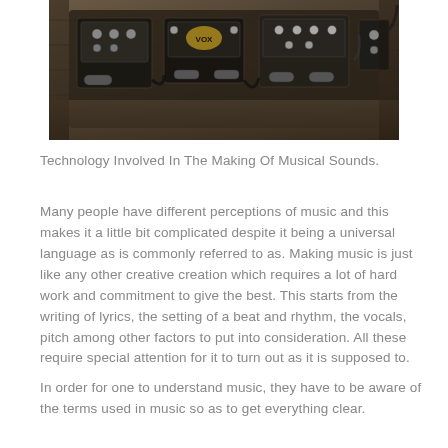[Figure (photo): Sepia-toned photograph of guitar effects pedals on a wooden surface with cables]
Technology Involved In The Making Of Musical Sounds.
Many people have different perceptions of music and this makes it a little bit complicated despite it being a universal language as is commonly referred to as. Making music is just like any other creative creation which requires a lot of hard work and commitment to give the best. This starts from the writing of lyrics, the setting of a beat and rhythm, the vocals, pitch among other factors to put into consideration. All these require special attention for it to turn out as it is supposed to.
In order for one to understand music, they have to be aware of the terms used in music so as to get everything clear.